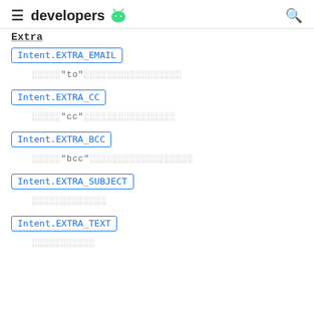developers (android logo)
Extra
Intent.EXTRA_EMAIL
[redacted text with "to" quoted]
Intent.EXTRA_CC
[redacted text with "cc" quoted]
Intent.EXTRA_BCC
[redacted text with "bcc" quoted]
Intent.EXTRA_SUBJECT
[redacted subject text]
Intent.EXTRA_TEXT
[redacted text]